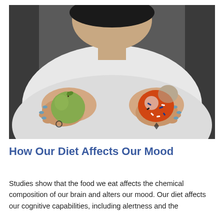[Figure (photo): A woman with blue nail polish holding a green apple in her left hand and a partially eaten orange frosted donut with sprinkles in her right hand, extending both toward the camera. The background is blurred.]
How Our Diet Affects Our Mood
Studies show that the food we eat affects the chemical composition of our brain and alters our mood. Our diet affects our cognitive capabilities, including alertness and the